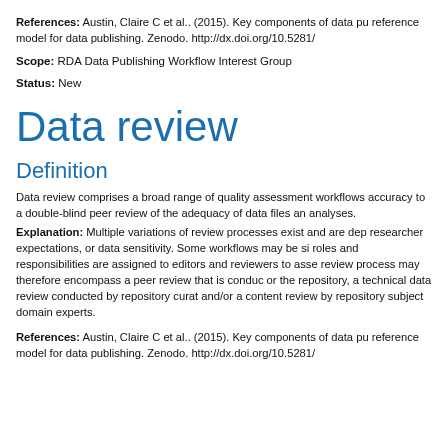References: Austin, Claire C et al.. (2015). Key components of data publishing: reference model for data publishing. Zenodo. http://dx.doi.org/10.5281/
Scope: RDA Data Publishing Workflow Interest Group
Status: New
Data review
Definition
Data review comprises a broad range of quality assessment workflows accuracy to a double-blind peer review of the adequacy of data files and analyses.
Explanation: Multiple variations of review processes exist and are dependent on researcher expectations, or data sensitivity. Some workflows may be simple roles and responsibilities are assigned to editors and reviewers to assess. The review process may therefore encompass a peer review that is conducted or the repository, a technical data review conducted by repository curators and/or a content review by repository subject domain experts.
References: Austin, Claire C et al.. (2015). Key components of data publishing: reference model for data publishing. Zenodo. http://dx.doi.org/10.5281/